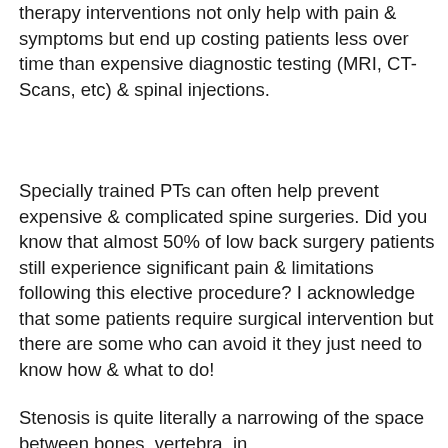therapy interventions not only help with pain & symptoms but end up costing patients less over time than expensive diagnostic testing (MRI, CT-Scans, etc) & spinal injections.
Specially trained PTs can often help prevent expensive & complicated spine surgeries. Did you know that almost 50% of low back surgery patients still experience significant pain & limitations following this elective procedure? I acknowledge that some patients require surgical intervention but there are some who can avoid it they just need to know how & what to do!
Stenosis is quite literally a narrowing of the space between bones, vertebra, in